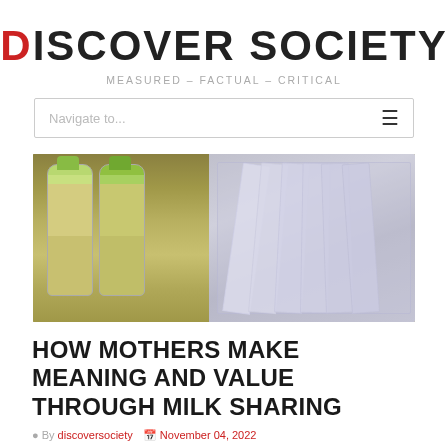DISCOVER SOCIETY
MEASURED – FACTUAL – CRITICAL
[Figure (screenshot): Navigation bar with 'Navigate to...' placeholder text and hamburger menu icon]
[Figure (photo): Photograph of breast milk storage: two baby bottles with green caps filled with yellowish milk on the left, and a clear plastic container with frozen breast milk bags standing upright on the right, inside a refrigerator]
HOW MOTHERS MAKE MEANING AND VALUE THROUGH MILK SHARING
By discoversociety   November 04, 2022